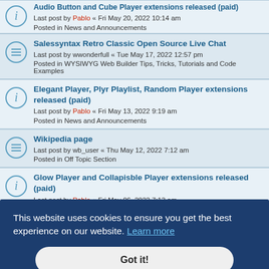Audio Button and Cube Player extensions released (paid)
Last post by Pablo « Fri May 20, 2022 10:14 am
Posted in News and Announcements
Salessyntax Retro Classic Open Source Live Chat
Last post by wwonderfull « Tue May 17, 2022 12:57 pm
Posted in WYSIWYG Web Builder Tips, Tricks, Tutorials and Code Examples
Elegant Player, Plyr Playlist, Random Player extensions released (paid)
Last post by Pablo « Fri May 13, 2022 9:19 am
Posted in News and Announcements
Wikipedia page
Last post by wb_user « Thu May 12, 2022 7:12 am
Posted in Off Topic Section
Glow Player and Collapisble Player extensions released (paid)
Last post by Pablo « Fri May 06, 2022 7:13 am
Posted in News and Announcements
This website uses cookies to ensure you get the best experience on our website. Learn more
Got it!